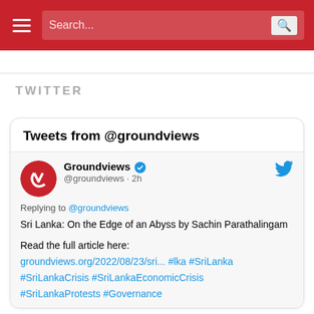Search...
TWITTER
[Figure (screenshot): Embedded Twitter widget showing tweets from @groundviews. Contains a tweet from Groundviews (@groundviews, 2h ago) replying to @groundviews with text: 'Sri Lanka: On the Edge of an Abyss by Sachin Parathalingam

Read the full article here:
groundviews.org/2022/08/23/sri... #lka #SriLanka #SriLankaCrisis #SriLankaEconomicCrisis #SriLankaProtests #Governance']